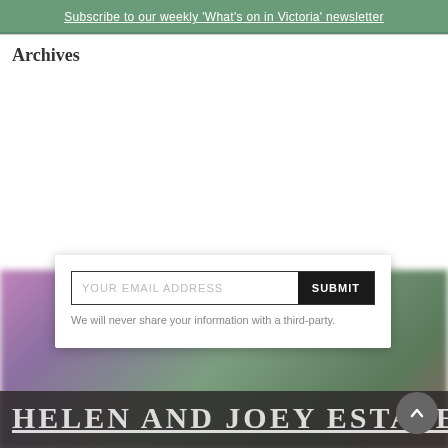Subscribe to our weekly 'What's on in Victoria' newsletter
Archives
[Figure (screenshot): Email subscription form with YOUR EMAIL ADDRESS input field and SUBMIT button, with privacy disclaimer text]
We will never share your information with a third-party.
HELEN AND JOEY ESTATE